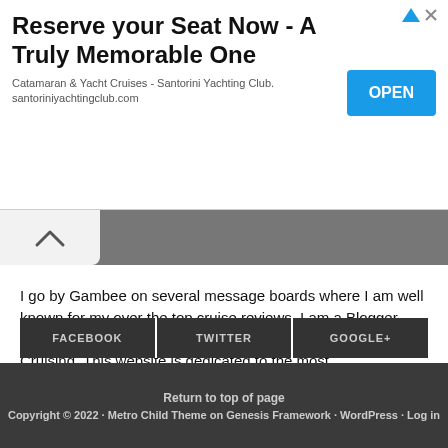[Figure (infographic): Advertisement banner for Santorini Yachting Club with title 'Reserve your Seat Now - A Truly Memorable One', subtitle 'Catamaran & Yacht Cruises - Santorini Yachting Club. santoriniyachtingclub.com', and an OPEN button in blue]
[Figure (photo): Black and white photo strip of a person, partially visible with a chevron/up arrow on the left]
I go by Gambee on several message boards where I am well known for my over the top cruise reviews. I am a Blogger, Photographer, and World Traveler that is passionate about Cruising. This website is dedicated to the most comprehensive reviews you will ever find! I invite you to come and join me aboard some of the most Amazing Cruise Ships Ever Made! More About Me.
FACEBOOK   TWITTER   GOOGLE+
Return to top of page
Copyright © 2022 · Metro Child Theme on Genesis Framework · WordPress · Log in